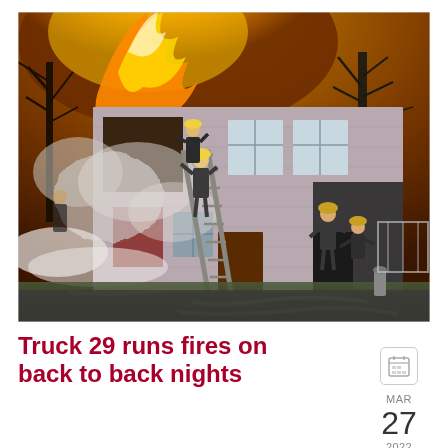[Figure (photo): Nighttime photo of firefighters battling a house fire. A two-story residential building is engulfed in flames visible from the upper left, with dense smoke billowing. Two firefighters on a ladder are working at the second-floor window while others are on the ground near the entrance. Fire hoses are visible on the ground.]
Truck 29 runs fires on back to back nights
MAR 27 2022